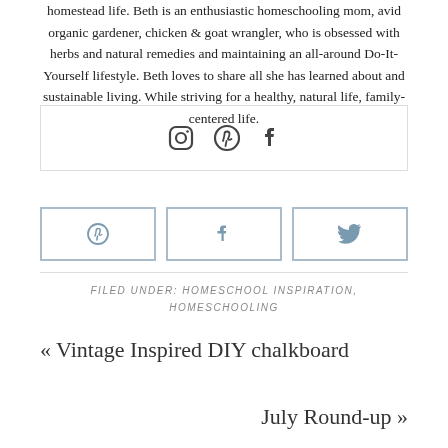homestead life. Beth is an enthusiastic homeschooling mom, avid organic gardener, chicken & goat wrangler, who is obsessed with herbs and natural remedies and maintaining an all-around Do-It-Yourself lifestyle. Beth loves to share all she has learned about and sustainable living. While striving for a healthy, natural life, family-centered life.
[Figure (infographic): Social media icons: Instagram, Pinterest, Facebook in a bordered box]
[Figure (infographic): Three share buttons with Pinterest, Facebook, and Twitter icons]
FILED UNDER: HOMESCHOOL INSPIRATION, HOMESCHOOLING
« Vintage Inspired DIY chalkboard
July Round-up »